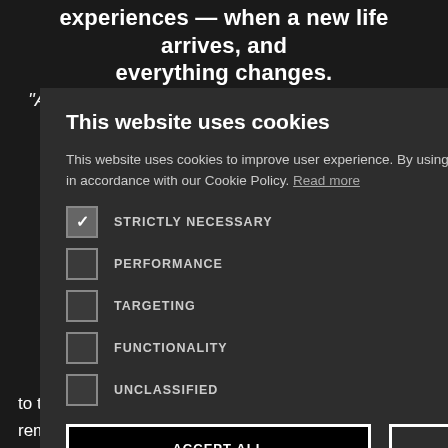experiences — when a new life arrives, and everything changes.
"An electrifying collection of poems that makes ... the Daily
a poem tell moments break ups, material of s, written in uthor – about po power e way her r world – to pt so many ess of the d not least to the women who preceded her and who remain a steadying and guiding presence
[Figure (other): Arrow navigation button pointing right, black background with white border]
This website uses cookies
This website uses cookies to improve user experience. By using our website you consent to all cookies in accordance with our Cookie Policy. Read more
STRICTLY NECESSARY (checked)
PERFORMANCE
TARGETING
FUNCTIONALITY
UNCLASSIFIED
ACCEPT ALL
DECLINE ALL
SHOW DETAILS